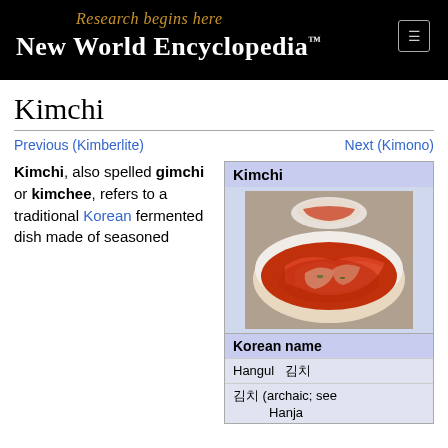Research begins here
New World Encyclopedia™
Kimchi
Previous (Kimberlite)    Next (Kimono)
Kimchi, also spelled gimchi or kimchee, refers to a traditional Korean fermented dish made of seasoned
[Figure (photo): Photo of kimchi dish with red sauce in a white bowl]
| Korean name |
| --- |
| Hangul 김치 |
| 김치 (archaic; see Hanja |